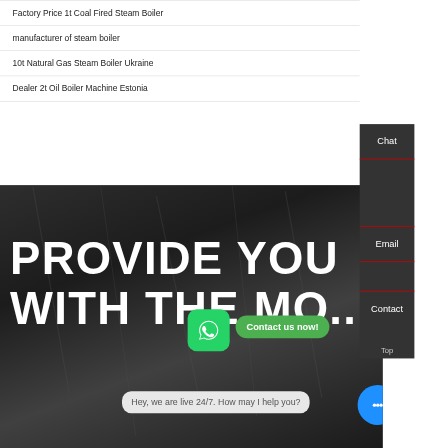Factory Price 1t Coal Fired Steam Boiler
manufacturer of steam boiler
10t Natural Gas Steam Boiler Ukraine
Dealer 2t Oil Boiler Machine Estonia
[Figure (screenshot): Dark textured background (coal/rock surface) with large white bold text reading PROVIDE YOU and WITH THE MO... partially visible. Overlaid UI elements: green WhatsApp icon button, green Contact us now! pill button, dark side panel with Chat / Email / Contact labels, a chat bubble saying Hey, we are live 24/7. How may I help you?, and a blue circular chat button.]
Chat
Email
Contact
Contact us now!
Hey, we are live 24/7. How may I help you?
Top